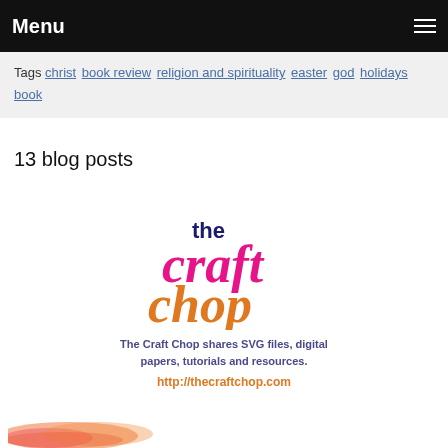Menu
Tags christ book review religion and spirituality easter god holidays book
13 blog posts
[Figure (logo): The Craft Chop logo with stylized text in dark blue and magenta, subtitle text in dark blue 'The Craft Chop shares SVG files, digital papers, tutorials and resources.' and URL http://thecraftchop.com in orange]
[Figure (illustration): Watercolor orange-pink paint strip at the bottom of the page]